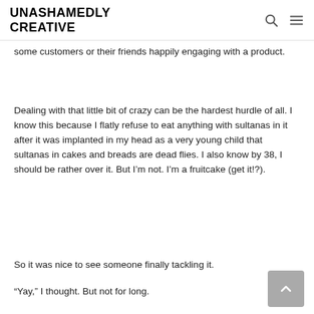UNASHAMEDLY CREATIVE
some customers or their friends happily engaging with a product.
Dealing with that little bit of crazy can be the hardest hurdle of all. I know this because I flatly refuse to eat anything with sultanas in it after it was implanted in my head as a very young child that sultanas in cakes and breads are dead flies. I also know by 38, I should be rather over it. But I'm not. I'm a fruitcake (get it!?).
So it was nice to see someone finally tackling it.
“Yay,” I thought. But not for long.